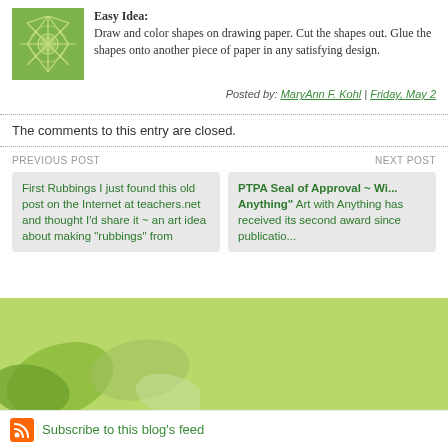Easy Idea: Draw and color shapes on drawing paper. Cut the shapes out. Glue the shapes onto another piece of paper in any satisfying design.
Posted by: MaryAnn F. Kohl | Friday, May 2...
The comments to this entry are closed.
PREVIOUS POST
NEXT POST
First Rubbings I just found this old post on the Internet at teachers.net and thought I'd share it ~ an art idea about making "rubbings" from
PTPA Seal of Approval ~ Wi... Anything" Art with Anything has received its second award since publicatio...
Subscribe to this blog's feed